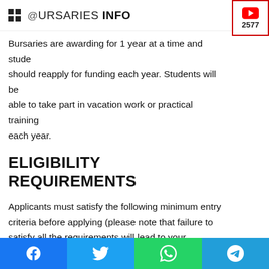BURSARIES INFO
Bursaries are awarding for 1 year at a time and students should reapply for funding each year. Students will be able to take part in vacation work or practical training each year.
ELIGIBILITY REQUIREMENTS
Applicants must satisfy the following minimum entry criteria before applying (please note that failure to satisfy all the requirements will lead to your application not being considered):
South African citizen
Completed Matric OR currently in Matric
Facebook Twitter WhatsApp Telegram